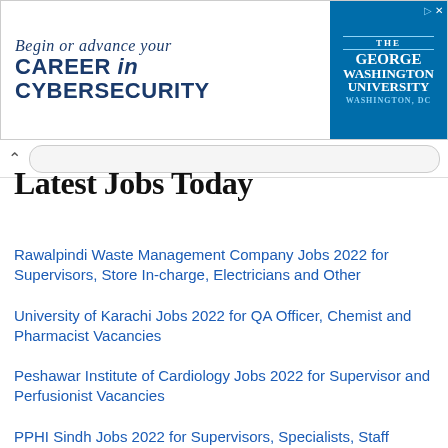[Figure (screenshot): Advertisement banner for The George Washington University – Begin or advance your CAREER in CYBERSECURITY]
Latest Jobs Today
Rawalpindi Waste Management Company Jobs 2022 for Supervisors, Store In-charge, Electricians and Other
University of Karachi Jobs 2022 for QA Officer, Chemist and Pharmacist Vacancies
Peshawar Institute of Cardiology Jobs 2022 for Supervisor and Perfusionist Vacancies
PPHI Sindh Jobs 2022 for Supervisors, Specialists, Staff Nurses, Paramedical, Drivers and Other
Women University of AJK Jobs 2022 for Project Coordinator